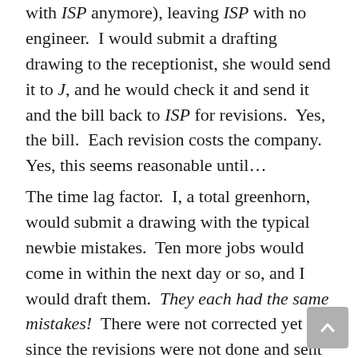with ISP anymore), leaving ISP with no engineer.  I would submit a drafting drawing to the receptionist, she would send it to J, and he would check it and send it and the bill back to ISP for revisions.  Yes, the bill.  Each revision costs the company.  Yes, this seems reasonable until…
The time lag factor.  I, a total greenhorn, would submit a drawing with the typical newbie mistakes.  Ten more jobs would come in within the next day or so, and I would draft them.  They each had the same mistakes!  There were not corrected yet since the revisions were not done and sent back to me until somewhere between a few days and a week.  So a week's worth of repeated mistakes would happen, costing the company greatly.